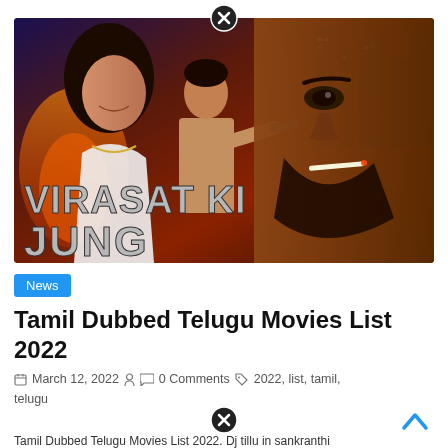[Figure (photo): Movie poster for 'Virasat Ki Jung' showing three actors — a woman in white, a man in beige shirt, and a close-up of a man with a beard holding a gun to his lips — against a dramatic urban background with the title text 'VIRASAT KI JUNG' in large metallic letters]
News
Tamil Dubbed Telugu Movies List 2022
March 12, 2022   0 Comments   2022, list, tamil, telugu
Tamil Dubbed Telugu Movies List 2022. Dj tillu in sankranthi